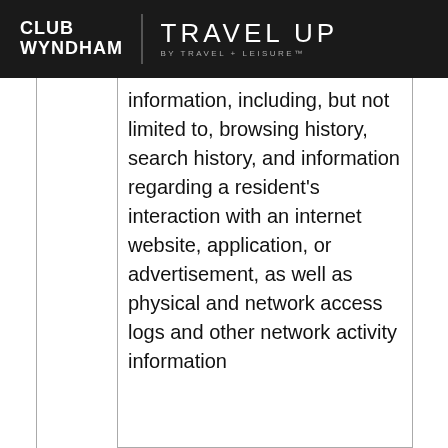CLUB WYNDHAM | TRAVEL UP BY TRAVEL + LEISURE™
information, including, but not limited to, browsing history, search history, and information regarding a resident's interaction with an internet website, application, or advertisement, as well as physical and network access logs and other network activity information